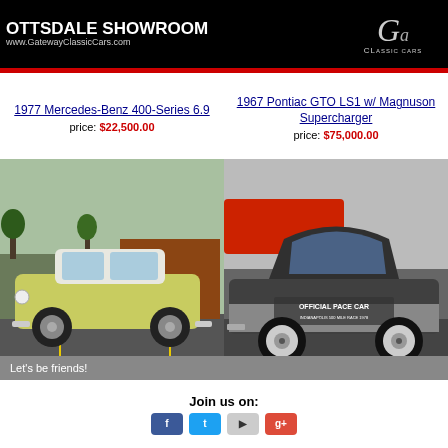OTTSDALE SHOWROOM
www.GatewayClassicCars.com
1967 Pontiac GTO LS1 w/ Magnuson Supercharger
price: $75,000.00
1977 Mercedes-Benz 400-Series 6.9
price: $22,500.00
[Figure (photo): Yellow-green 1955 Chevrolet Bel Air parked in lot]
[Figure (photo): Dark 1978 Chevrolet Corvette Indy Pace Car with 'Official Pace Car' marking]
1955 Chevrolet Bel Air/150/210
price: $23,000.00
1978 Chevrolet Corvette 1978 Chevrolet Corvette Indy Pace Car 70K Mi
price: $11,995.00
Let's be friends!
Join us on: